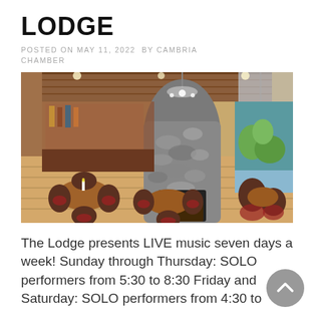LODGE
POSTED ON MAY 11, 2022  BY CAMBRIA CHAMBER
[Figure (photo): Interior of The Lodge restaurant/bar showing wicker chairs with red cushions around round wooden tables, a large stone fireplace in the center background, a bar to the left, wood-paneled ceiling, hardwood floors, and a colorful landscape mural on the right wall.]
The Lodge presents LIVE music seven days a week! Sunday through Thursday: SOLO performers from 5:30 to 8:30 Friday and Saturday: SOLO performers from 4:30 to